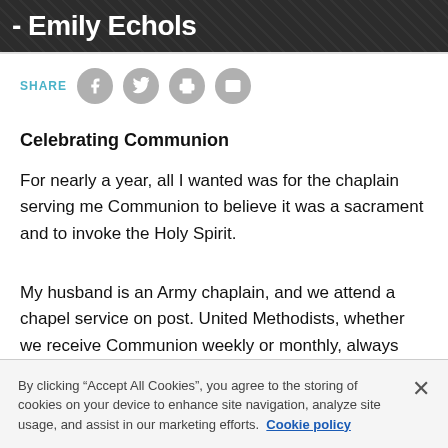- Emily Echols
SHARE
Celebrating Communion
For nearly a year, all I wanted was for the chaplain serving me Communion to believe it was a sacrament and to invoke the Holy Spirit.
My husband is an Army chaplain, and we attend a chapel service on post. United Methodists, whether we receive Communion weekly or monthly, always consider the Eucharist a sacrament.
By clicking “Accept All Cookies”, you agree to the storing of cookies on your device to enhance site navigation, analyze site usage, and assist in our marketing efforts. Cookie policy